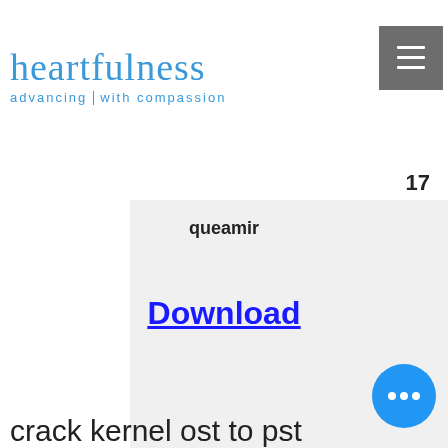heartfulness advancing with compassion
17
queamir
Download
crack kernel ost to pst